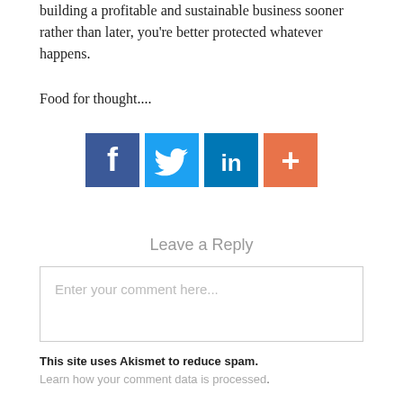building a profitable and sustainable business sooner rather than later, you're better protected whatever happens.
Food for thought....
[Figure (infographic): Four social sharing buttons: Facebook (dark blue, f icon), Twitter (light blue, bird icon), LinkedIn (teal, in icon), and a plus/share button (orange, + icon)]
Leave a Reply
Enter your comment here...
This site uses Akismet to reduce spam.
Learn how your comment data is processed.